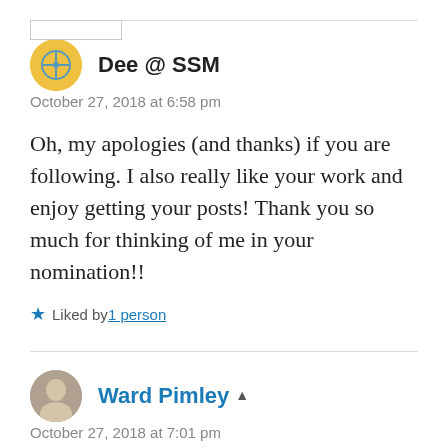Dee @ SSM
October 27, 2018 at 6:58 pm
Oh, my apologies (and thanks) if you are following. I also really like your work and enjoy getting your posts! Thank you so much for thinking of me in your nomination!!
Liked by 1 person
Ward Pimley
October 27, 2018 at 7:01 pm